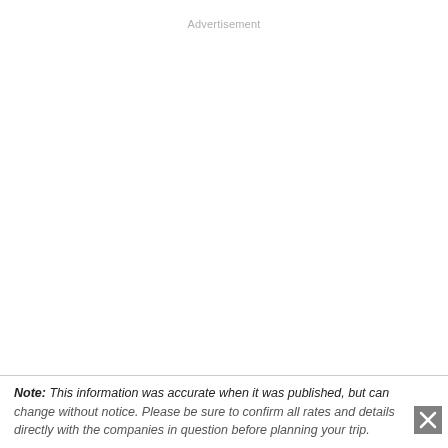Advertisement
Note: This information was accurate when it was published, but can change without notice. Please be sure to confirm all rates and details directly with the companies in question before planning your trip.